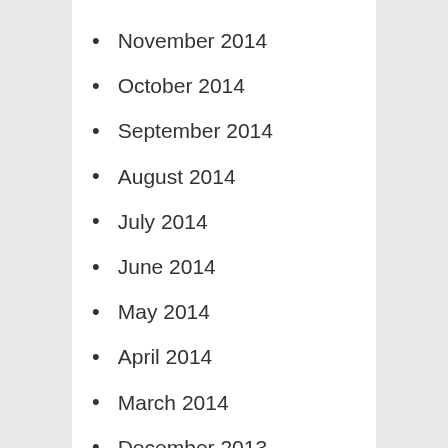November 2014
October 2014
September 2014
August 2014
July 2014
June 2014
May 2014
April 2014
March 2014
December 2013
November 2013
October 2013